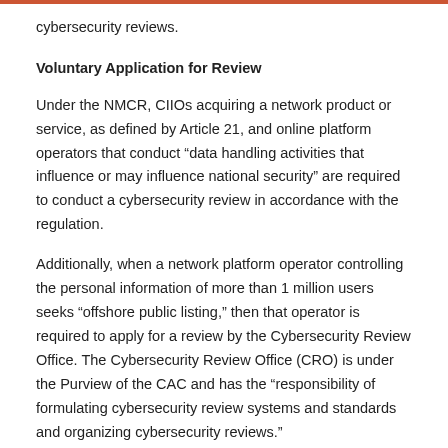cybersecurity reviews.
Voluntary Application for Review
Under the NMCR, CIIOs acquiring a network product or service, as defined by Article 21, and online platform operators that conduct “data handling activities that influence or may influence national security” are required to conduct a cybersecurity review in accordance with the regulation.
Additionally, when a network platform operator controlling the personal information of more than 1 million users seeks “offshore public listing,” then that operator is required to apply for a review by the Cybersecurity Review Office. The Cybersecurity Review Office (CRO) is under the Purview of the CAC and has the “responsibility of formulating cybersecurity review systems and standards and organizing cybersecurity reviews.”
Mandated Application for Review